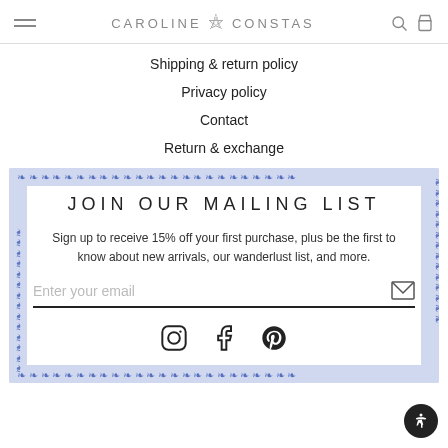CAROLINE ∞ CONSTAS
Shipping & return policy
Privacy policy
Contact
Return & exchange
JOIN OUR MAILING LIST
Sign up to receive 15% off your first purchase, plus be the first to know about new arrivals, our wanderlust list, and more.
Enter your email